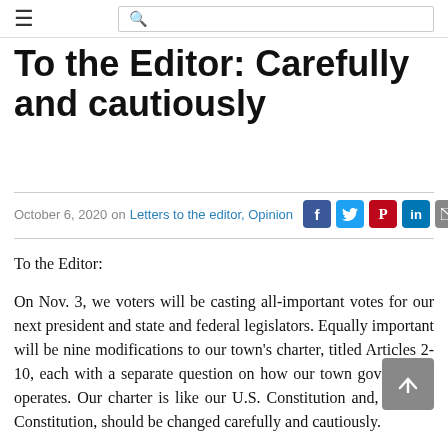☰  🔍
To the Editor: Carefully and cautiously
October 6, 2020  on  Letters to the editor, Opinion
To the Editor:
On Nov. 3, we voters will be casting all-important votes for our next president and state and federal legislators. Equally important will be nine modifications to our town's charter, titled Articles 2-10, each with a separate question on how our town government operates. Our charter is like our U.S. Constitution and, like the Constitution, should be changed carefully and cautiously.
Unfortunately, Articles 2, 4, 7 and 8, if passed by a